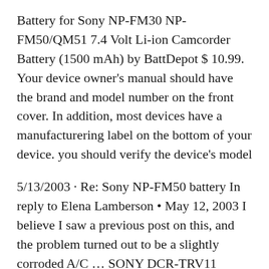Battery for Sony NP-FM30 NP-FM50/QM51 7.4 Volt Li-ion Camcorder Battery (1500 mAh) by BattDepot $10.99. Your device owner's manual should have the brand and model number on the front cover. In addition, most devices have a manufacturering label on the bottom of your device. you should verify the device's model
5/13/2003 · Re: Sony NP-FM50 battery In reply to Elena Lamberson • May 12, 2003 I believe I saw a previous post on this, and the problem turned out to be a slightly corroded A/C ... SONY DCR-TRV11 Owner's Manual . With this manual You'll learn how to set up and use Your SONY DCR-TRV11. The manual describes functions of DCR-TRV11, tells how to use it correctly and includes